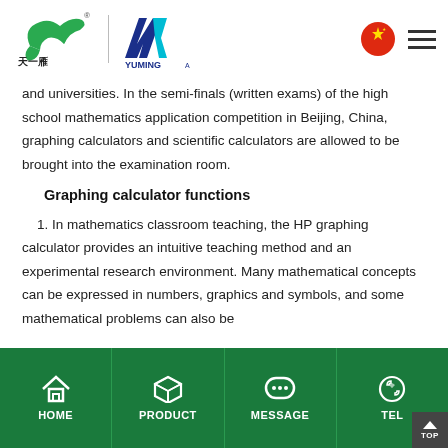Tianyan / Yuming brand header with logos, Chinese flag icon, and hamburger menu
and universities. In the semi-finals (written exams) of the high school mathematics application competition in Beijing, China, graphing calculators and scientific calculators are allowed to be brought into the examination room.
Graphing calculator functions
1. In mathematics classroom teaching, the HP graphing calculator provides an intuitive teaching method and an experimental research environment. Many mathematical concepts can be expressed in numbers, graphics and symbols, and some mathematical problems can also be
HOME | PRODUCT | MESSAGE | TEL | TOP